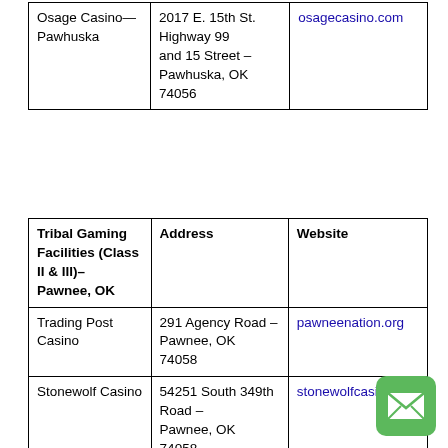|  | Address | Website |
| --- | --- | --- |
| Osage Casino—Pawhuska | 2017 E. 15th St. Highway 99 and 15 Street – Pawhuska, OK 74056 | osagecasino.com |
| Tribal Gaming Facilities (Class II & III)– Pawnee, OK | Address | Website |
| --- | --- | --- |
| Trading Post Casino | 291 Agency Road – Pawnee, OK 74058 | pawneenation.org |
| Stonewolf Casino | 54251 South 349th Road – Pawnee, OK 74058 | stonewolfcasino |